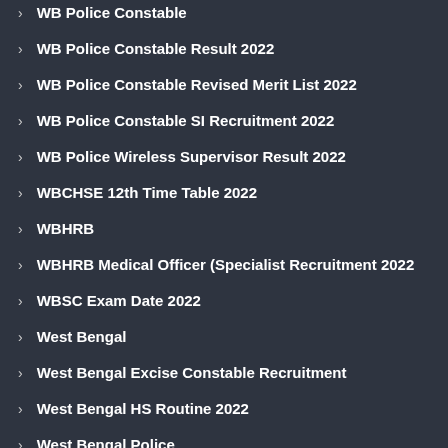WB Police Constable
WB Police Constable Result 2022
WB Police Constable Revised Merit List 2022
WB Police Constable SI Recruitment 2022
WB Police Wireless Supervisor Result 2022
WBCHSE 12th Time Table 2022
WBHRB
WBHRB Medical Officer (Specialist Recruitment 2022
WBSC Exam Date 2022
West Bengal
West Bengal Excise Constable Recruitment
West Bengal HS Routine 2022
West Bengal Police
West Godavari